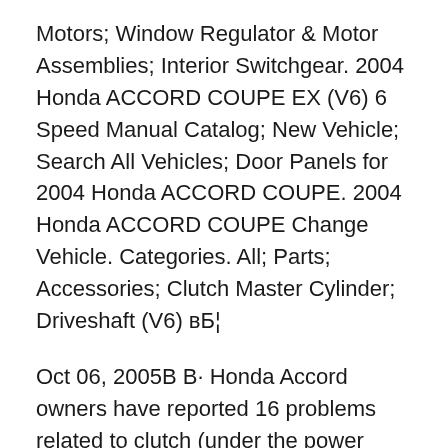Motors; Window Regulator & Motor Assemblies; Interior Switchgear. 2004 Honda ACCORD COUPE EX (V6) 6 Speed Manual Catalog; New Vehicle; Search All Vehicles; Door Panels for 2004 Honda ACCORD COUPE. 2004 Honda ACCORD COUPE Change Vehicle. Categories. All; Parts; Accessories; Clutch Master Cylinder; Driveshaft (V6) вЂ¦
Oct 06, 2005В В· Honda Accord owners have reported 16 problems related to clutch (under the power train category). The most recently reported issues are listed below. Also please check out the statistics and reliability analysis of Honda Accord based on all problems reported for the Accord. 2004 Honda ACCORD COUPE EX (V6) 6 Speed Manual Catalog; New Vehicle;